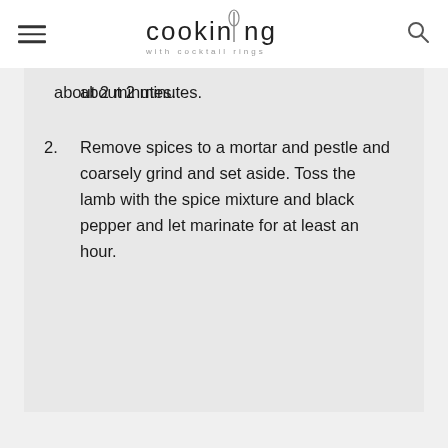cooking with cocktail rings
about 2 minutes.
2. Remove spices to a mortar and pestle and coarsely grind and set aside. Toss the lamb with the spice mixture and black pepper and let marinate for at least an hour.